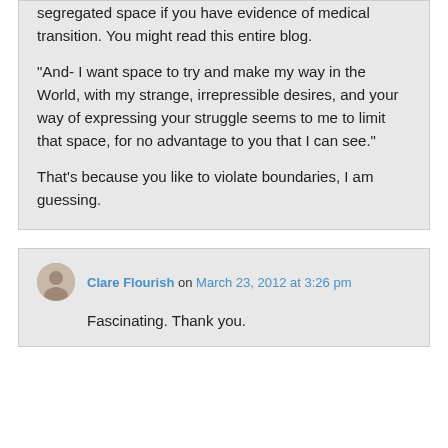segregated space if you have evidence of medical transition. You might read this entire blog.
“And- I want space to try and make my way in the World, with my strange, irrepressible desires, and your way of expressing your struggle seems to me to limit that space, for no advantage to you that I can see.”
That’s because you like to violate boundaries, I am guessing.
Clare Flourish on March 23, 2012 at 3:26 pm
Fascinating. Thank you.